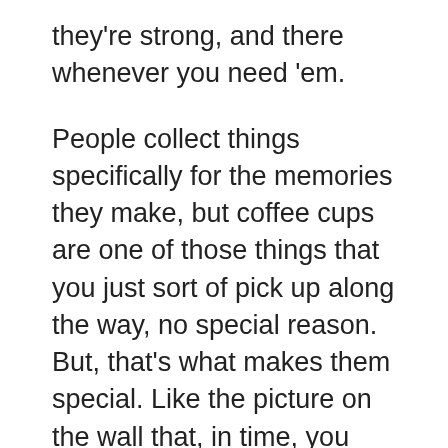they're strong, and there whenever you need 'em.
People collect things specifically for the memories they make, but coffee cups are one of those things that you just sort of pick up along the way, no special reason. But, that's what makes them special. Like the picture on the wall that, in time, you tend to ignore, pulling one of these gems out of the back of the cabinet and reliving the sentiment behind it is special.
del.icio.us Tags: memories,coffee cups,collectibles,knick-knacks,sentimentality,Sentimental